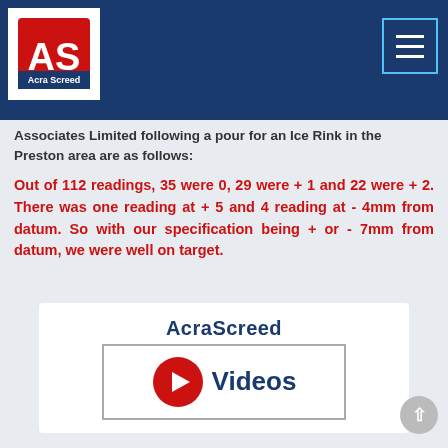Acra Screed
Associates Limited following a pour for an Ice Rink in the Preston area are as follows:
Out of 112 readings, 35 were 0, 29 were + 1 and 22 were + 2. There was one reading at + 5 and 4 reading at - 4mm from datum. So with our specification being + or - 7mm from datum, we were well on target.
[Figure (screenshot): AcraScreed Videos banner with YouTube play button icon and dark blue text on white background]